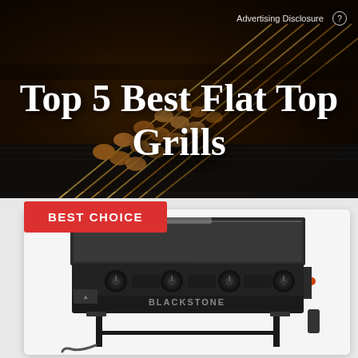[Figure (photo): Hero background photo of food skewers/kebabs cooking on a flat top grill, dark background with golden-brown skewered food items arranged diagonally]
Advertising Disclosure ?
Top 5 Best Flat Top Grills
BEST CHOICE
[Figure (photo): Product photo of a Blackstone flat top grill with four burner knobs and a large griddle cooking surface, shown on a stand]